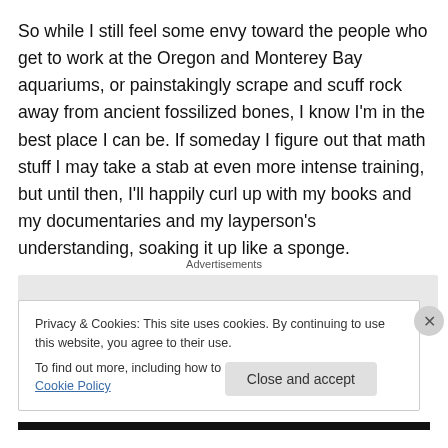So while I still feel some envy toward the people who get to work at the Oregon and Monterey Bay aquariums, or painstakingly scrape and scuff rock away from ancient fossilized bones, I know I'm in the best place I can be. If someday I figure out that math stuff I may take a stab at even more intense training, but until then, I'll happily curl up with my books and my documentaries and my layperson's understanding, soaking it up like a sponge.
Advertisements
Privacy & Cookies: This site uses cookies. By continuing to use this website, you agree to their use.
To find out more, including how to control cookies, see here: Cookie Policy
Close and accept